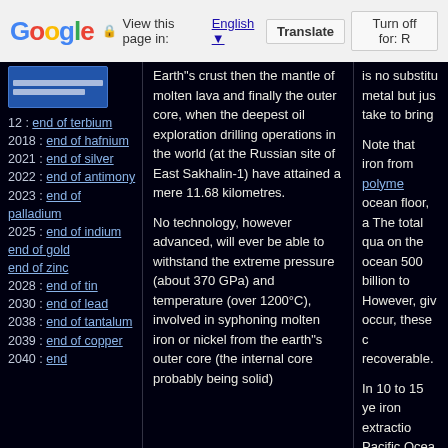Google — View this page in: English [▼] Translate | Turn off for: R
[Figure (screenshot): Blue sidebar navigation widget with two white horizontal bars]
12 : end of terbium
2018 : end of hafnium
2021 : end of silver
2022 : end of antimony
2023 : end of palladium
2025 : end of indium
end of gold
end of zinc
2028 : end of tin
2030 : end of lead
2038 : end of tantalum
2039 : end of copper
2040 : end
Earth"s crust then the mantle of molten lava and finally the outer core, when the deepest oil exploration drilling operations in the world (at the Russian site of East Sakhalin-1) have attained a mere 11.68 kilometres.
No technology, however advanced, will ever be able to withstand the extreme pressure (about 370 GPa) and temperature (over 1200°C), involved in syphoning molten iron or nickel from the earth"s outer core (the internal core probably being solid)
is no substitu metal but jus take to bring
Note that iron from polyme ocean floor, a The total qua on the ocean 500 billion to However, giv occur, these c recoverable.
In 10 to 15 ye iron extractio Pacific Ocea reality. Russia ahead with ex 2011 to 2020 rapidly with t zone in the Pa organisations natural enviro exploitation